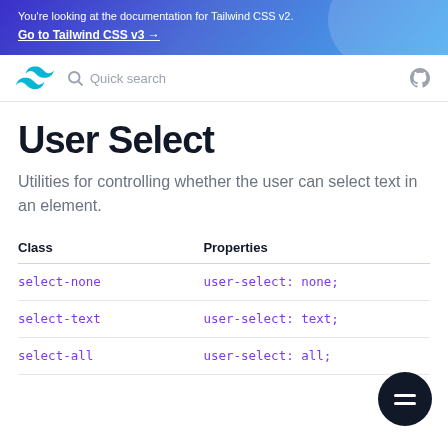You're looking at the documentation for Tailwind CSS v2. Go to Tailwind CSS v3 →
[Figure (logo): Tailwind CSS teal wave logo]
Quick search
User Select
Utilities for controlling whether the user can select text in an element.
| Class | Properties |
| --- | --- |
| select-none | user-select: none; |
| select-text | user-select: text; |
| select-all | user-select: all; |